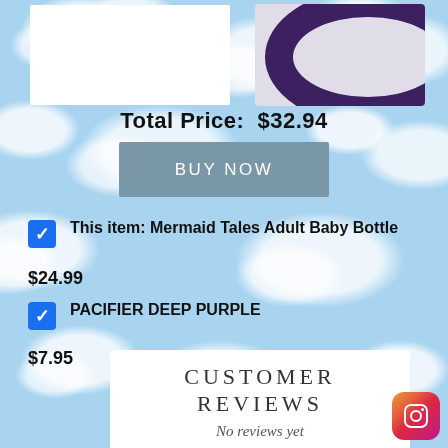[Figure (photo): White rectangle placeholder image on left, purple pacifier ring visible on right against light background]
Total Price:  $32.94
BUY NOW
This item: Mermaid Tales Adult Baby Bottle $24.99
PACIFIER DEEP PURPLE $7.95
CUSTOMER REVIEWS
No reviews yet